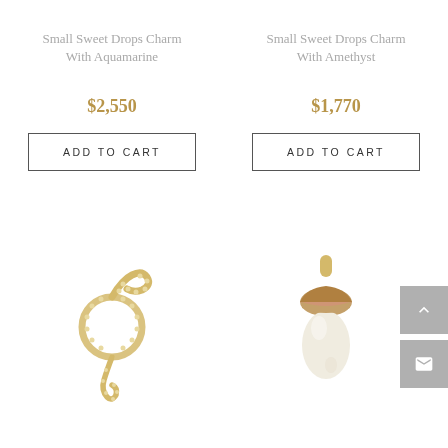Small Sweet Drops Charm With Aquamarine
$2,550
ADD TO CART
Small Sweet Drops Charm With Amethyst
$1,770
ADD TO CART
[Figure (photo): Gold snake charm with diamond/crystal pave detail, coiled in a circular shape with a curved tail]
[Figure (photo): Gold acorn charm with pink cap detail and a clear/light stone body, with a gold bail at top]